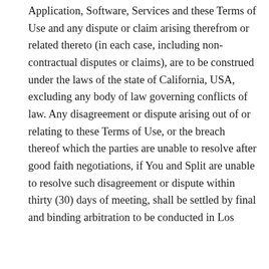Application, Software, Services and these Terms of Use and any dispute or claim arising therefrom or related thereto (in each case, including non-contractual disputes or claims), are to be construed under the laws of the state of California, USA, excluding any body of law governing conflicts of law. Any disagreement or dispute arising out of or relating to these Terms of Use, or the breach thereof which the parties are unable to resolve after good faith negotiations, if You and Split are unable to resolve such disagreement or dispute within thirty (30) days of meeting, shall be settled by final and binding arbitration to be conducted in Los